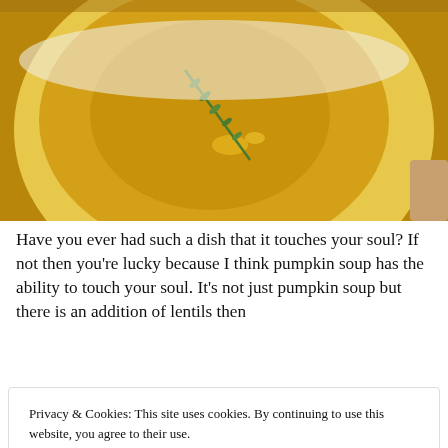[Figure (photo): Close-up photo of a bowl of golden-yellow pumpkin soup with a sprig of rosemary on top, served in a white bowl on a white plate.]
Have you ever had such a dish that it touches your soul? If not then you’re lucky because I think pumpkin soup has the ability to touch your soul. It’s not just pumpkin soup but there is an addition of lentils then
Privacy & Cookies: This site uses cookies. By continuing to use this website, you agree to their use.
To find out more, including how to control cookies, see here: Cookie Policy
Close and accept